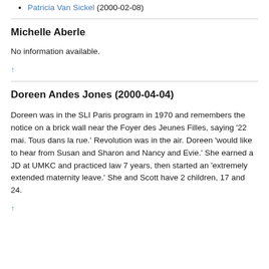Patricia Van Sickel (2000-02-08)
Michelle Aberle
No information available.
↑
Doreen Andes Jones (2000-04-04)
Doreen was in the SLI Paris program in 1970 and remembers the notice on a brick wall near the Foyer des Jeunes Filles, saying '22 mai. Tous dans la rue.' Revolution was in the air. Doreen 'would like to hear from Susan and Sharon and Nancy and Evie.' She earned a JD at UMKC and practiced law 7 years, then started an 'extremely extended maternity leave.' She and Scott have 2 children, 17 and 24.
↑